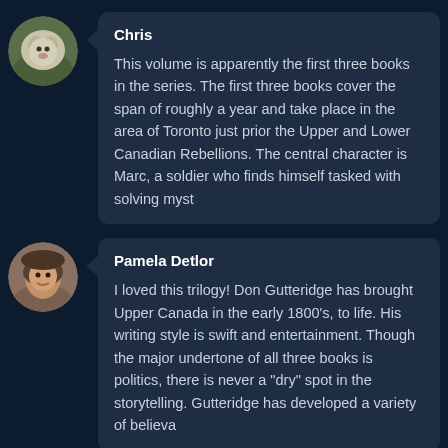[Figure (photo): Circular avatar of a small fluffy dog (white/grey) in a garden setting]
Chris

This volume is apparently the first three books in the series. The first three books cover the span of roughly a year and take place in the area of Toronto just prior the Upper and Lower Canadian Rebellions. The central character is Marc, a soldier who finds himself tasked with solving myst
[Figure (photo): Circular avatar of a smiling woman with dark hair wearing a headscarf]
Pamela Detlor

I loved this trilogy! Don Gutteridge has brought Upper Canada in the early 1800's, to life. His writing style is swift and entertainment. Though the major undertone of all three books is politics, there is never a "dry" spot in the storytelling. Gutteridge has developed a variety of believa